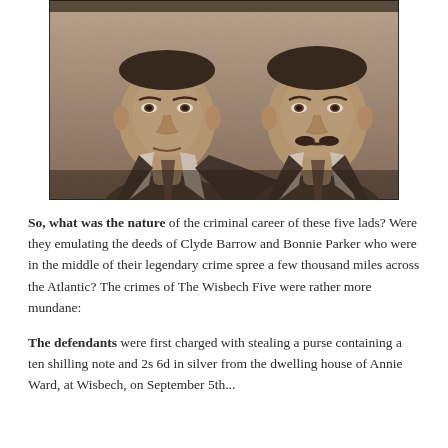[Figure (photo): Sepia-toned newspaper photograph showing two men from approximately the chest up, both wearing suits and ties, with close-cropped halftone print style typical of early 20th century newspaper photography.]
So, what was the nature of the criminal career of these five lads? Were they emulating the deeds of Clyde Barrow and Bonnie Parker who were in the middle of their legendary crime spree a few thousand miles across the Atlantic? The crimes of The Wisbech Five were rather more mundane:
The defendants were first charged with stealing a purse containing a ten shilling note and 2s 6d in silver from the dwelling house of Annie Ward, at Wisbech, on September 5th...